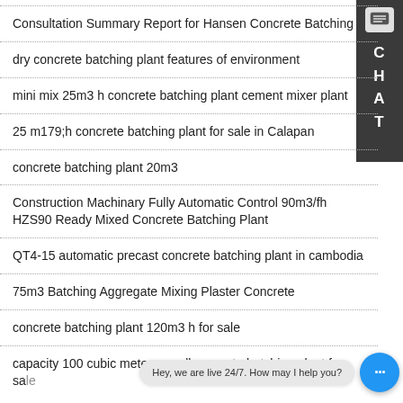Consultation Summary Report for Hansen Concrete Batching
dry concrete batching plant features of environment
mini mix 25m3 h concrete batching plant cement mixer plant
25 m179;h concrete batching plant for sale in Calapan
concrete batching plant 20m3
Construction Machinary Fully Automatic Control 90m3/fh HZS90 Ready Mixed Concrete Batching Plant
QT4-15 automatic precast concrete batching plant in cambodia
75m3 Batching Aggregate Mixing Plaster Concrete
concrete batching plant 120m3 h for sale
capacity 100 cubic meters small concrete batching plant for sale